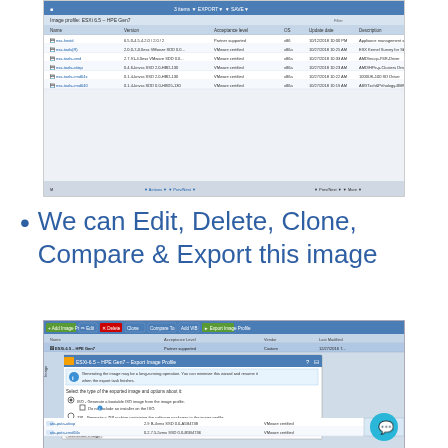[Figure (screenshot): Screenshot of VMware vSphere Image Builder or similar software showing a table with software packages, columns include Name, Version, Acceptance Level, OS, Update Date, and Description. Several rows of software entries visible.]
We can Edit, Delete, Clone, Compare & Export this image
[Figure (screenshot): Screenshot of VMware ESXi 6.5 – HPE Gen7 Export Image Profile dialog. Shows options for generating a bootable ISO image or ZIP archive containing software packages in the image profile. Includes a 'Generate Image' button and checkboxes for options. Bottom of screen shows package rows including ata-pata-atiixp and ata-pata-cmd64x with versions and VMware certified status.]